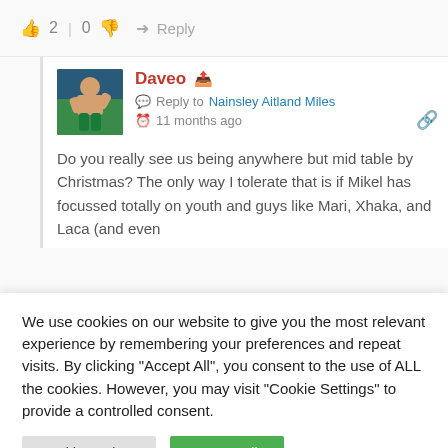2 | 0  → Reply
[Figure (screenshot): User avatar for Daveo showing a person in a wrestling/fighting pose with teal/green pants]
Daveo
Reply to Nainsley Aitland Miles
11 months ago
Do you really see us being anywhere but mid table by Christmas? The only way I tolerate that is if Mikel has focussed totally on youth and guys like Mari, Xhaka, and Laca (and even
We use cookies on our website to give you the most relevant experience by remembering your preferences and repeat visits. By clicking "Accept All", you consent to the use of ALL the cookies. However, you may visit "Cookie Settings" to provide a controlled consent.